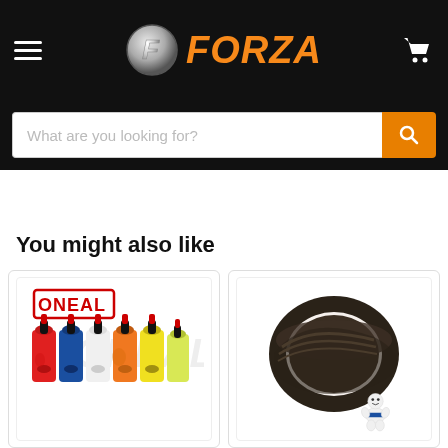[Figure (screenshot): Forza website header with hamburger menu, Forza logo (silver F in circle with orange FORZA text), and shopping cart icon on black background]
[Figure (screenshot): Search bar with placeholder text 'What are you looking for?' and orange search button with magnifying glass icon]
You might also like
[Figure (photo): Oneal branded product showing five colorful plastic bottles (red, blue, white, orange, yellow) with red caps]
[Figure (photo): Michelin bicycle inner tube shown rolled up, with Michelin Man mascot logo]